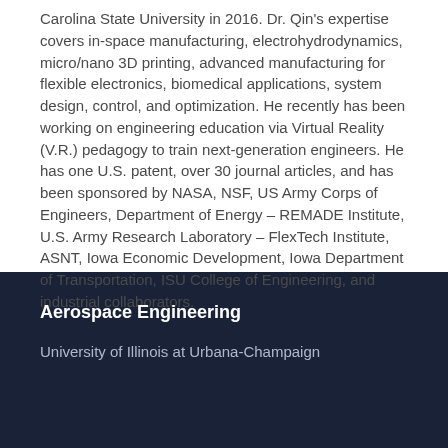Carolina State University in 2016. Dr. Qin's expertise covers in-space manufacturing, electrohydrodynamics, micro/nano 3D printing, advanced manufacturing for flexible electronics, biomedical applications, system design, control, and optimization. He recently has been working on engineering education via Virtual Reality (V.R.) pedagogy to train next-generation engineers. He has one U.S. patent, over 30 journal articles, and has been sponsored by NASA, NSF, US Army Corps of Engineers, Department of Energy – REMADE Institute, U.S. Army Research Laboratory – FlexTech Institute, ASNT, Iowa Economic Development, Iowa Department of Transportation, ISU College of Engineering, and industrial collaborators.
Aerospace Engineering
University of Illinois at Urbana-Champaign